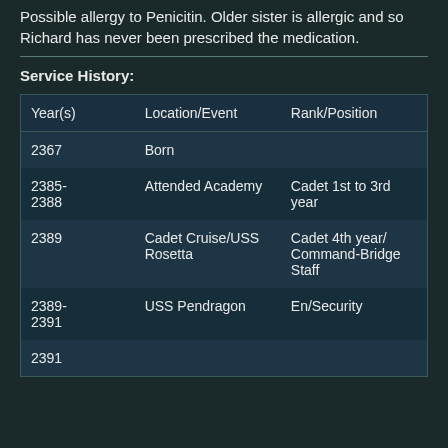Possible allergy to Penicitin. Older sister is allergic and so Richard has never been prescribed the medication.
Service History:
| Year(s) | Location/Event | Rank/Position |
| --- | --- | --- |
| 2367 | Born |  |
| 2385-2388 | Attended Academy | Cadet 1st to 3rd year |
| 2389 | Cadet Cruise/USS Rosetta | Cadet 4th year/Command-Bridge Staff |
| 2389-2391 | USS Pendragon | En/Security |
| 2391 |  |  |